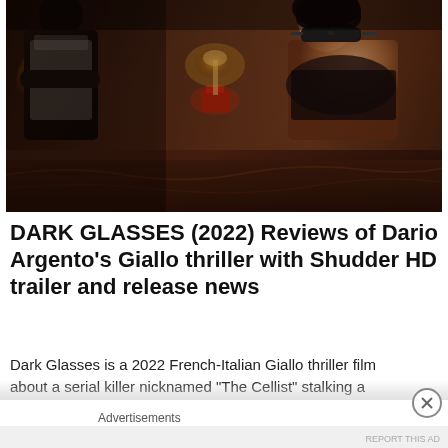[Figure (photo): A dark, moody film still from Dark Glasses (2022). A woman in a black bra and sunglasses sits/reclines on a bed in a dimly lit room with warm amber and red lighting. A dark figure of a man stands to the left in shadow. The scene has a cinematic Giallo thriller atmosphere.]
DARK GLASSES (2022) Reviews of Dario Argento's Giallo thriller with Shudder HD trailer and release news
Dark Glasses is a 2022 French-Italian Giallo thriller film about a serial killer nicknamed "The Cellist" stalking a
Advertisements